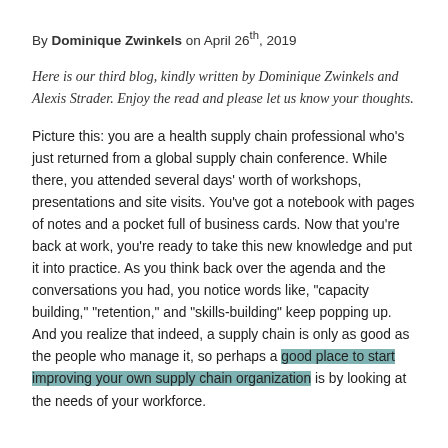By Dominique Zwinkels on April 26th, 2019
Here is our third blog, kindly written by Dominique Zwinkels and Alexis Strader. Enjoy the read and please let us know your thoughts.
Picture this: you are a health supply chain professional who's just returned from a global supply chain conference. While there, you attended several days' worth of workshops, presentations and site visits. You've got a notebook with pages of notes and a pocket full of business cards. Now that you're back at work, you're ready to take this new knowledge and put it into practice. As you think back over the agenda and the conversations you had, you notice words like, "capacity building," "retention," and "skills-building" keep popping up. And you realize that indeed, a supply chain is only as good as the people who manage it, so perhaps a good place to start improving your own supply chain organization is by looking at the needs of your workforce.